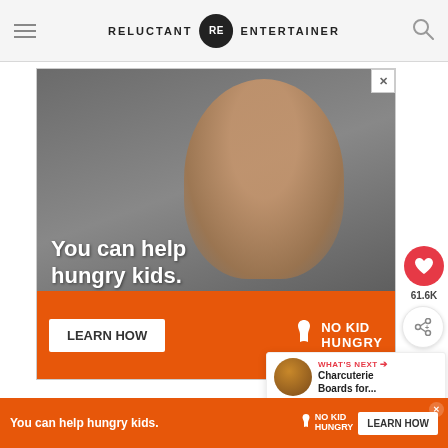RELUCTANT RE ENTERTAINER
[Figure (screenshot): Advertisement for No Kid Hungry: photo of a young boy eating, with text 'You can help hungry kids.' on orange background. LEARN HOW button and NO KID HUNGRY logo visible.]
[Figure (infographic): What's Next promo card: thumbnail image with 'WHAT'S NEXT' label and 'Charcuterie Boards for...' text]
Today I'm sharing a delightful recipe, and a
vi... biscuits
re...
[Figure (screenshot): Bottom banner advertisement: 'You can help hungry kids.' with No Kid Hungry logo and LEARN HOW button on orange background with close X button.]